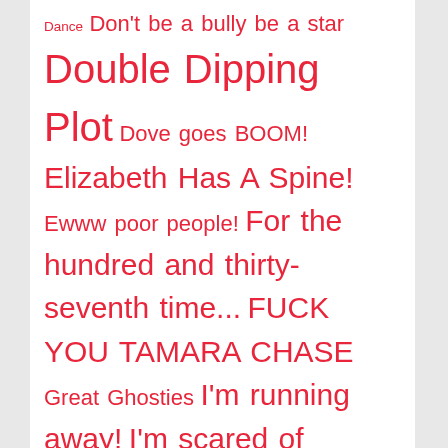Dance Don't be a bully be a star Double Dipping Plot Dove goes BOOM! Elizabeth Has A Spine! Ewww poor people! For the hundred and thirty-seventh time... FUCK YOU TAMARA CHASE Great Ghosties I'm running away! I'm scared of Jessica I HATE STEVEN Jessica's New Fave Hobby lo! a haunted house Needs More Werewolves No means no - unless you're Jessica Plucky girl detectives Poor little Jessica Raven disapproves of the faculty Raven goes BOOM Shame you're not a perfect size 6 sketchy student-teacher relationships Something Must Be Done SUPERNATURAL OOOOH Sweet Valley Time THANK GOD FOR ELIZABETH That